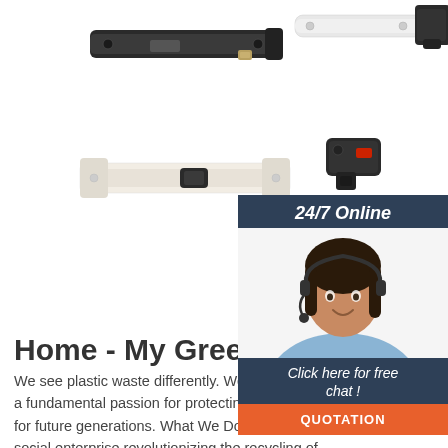[Figure (photo): Product images of hardware components (sliding bolts/locks in black and white) arranged in a grid layout at the top of the page]
[Figure (photo): Chat widget with 24/7 Online header, customer service agent photo, 'Click here for free chat!' text, and orange QUOTATION button]
Home - My Green Home
We see plastic waste differently. We are driven by a fundamental passion for protecting our planet for future generations. What We Do We are a social enterprise revolutionizing the recycling of plastic waste in Rwanda, creating an environmentally friendly product through the recycling of plastic waste into construction materials. Our goal is to create durable [...]